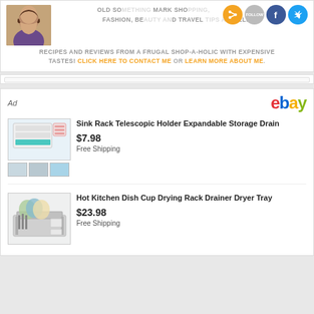[Figure (photo): Blog header section with woman's photo, social media icons (RSS, Follow, Facebook, Twitter), and blog description text about shopping, fashion, beauty and travel tips, recipes and reviews from a frugal shop-a-holic with expensive tastes. Links: CLICK HERE TO CONTACT ME and LEARN MORE ABOUT ME.]
OLD SOMETHING MARK SHOPPING, FASHION, BEAUTY AND TRAVEL TIPS AS WELL AS RECIPES AND REVIEWS FROM A FRUGAL SHOP-A-HOLIC WITH EXPENSIVE TASTES! CLICK HERE TO CONTACT ME OR LEARN MORE ABOUT ME.
[Figure (screenshot): eBay advertisement section with two product listings. First: Sink Rack Telescopic Holder Expandable Storage Drain - $7.98 Free Shipping. Second: Hot Kitchen Dish Cup Drying Rack Drainer Dryer Tray - $23.98 Free Shipping.]